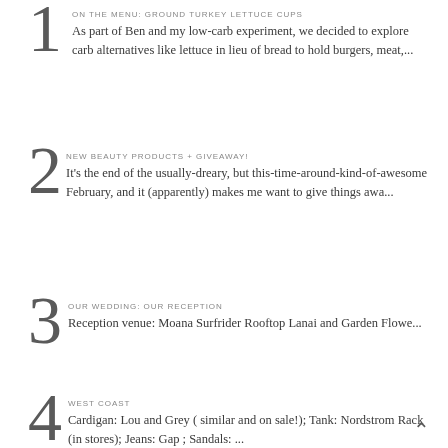ON THE MENU: GROUND TURKEY LETTUCE CUPS
As part of Ben and my low-carb experiment, we decided to explore carb alternatives like lettuce in lieu of bread to hold burgers, meat,...
NEW BEAUTY PRODUCTS + GIVEAWAY!
It's the end of the usually-dreary, but this-time-around-kind-of-awesome February, and it (apparently) makes me want to give things awa...
OUR WEDDING: OUR RECEPTION
Reception venue: Moana Surfrider Rooftop Lanai and Garden Flowe...
WEST COAST
Cardigan: Lou and Grey ( similar and on sale!); Tank: Nordstrom Rack (in stores); Jeans: Gap ; Sandals: ...